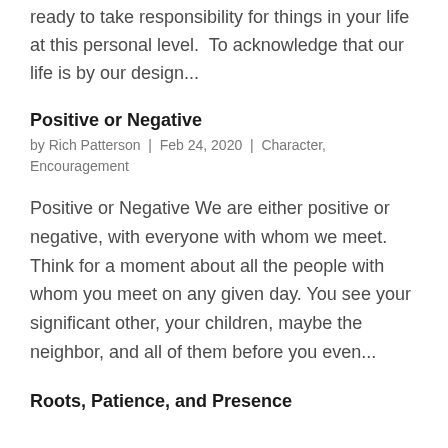ready to take responsibility for things in your life at this personal level.  To acknowledge that our life is by our design...
Positive or Negative
by Rich Patterson | Feb 24, 2020 | Character, Encouragement
Positive or Negative We are either positive or negative, with everyone with whom we meet. Think for a moment about all the people with whom you meet on any given day. You see your significant other, your children, maybe the neighbor, and all of them before you even...
Roots, Patience, and Presence